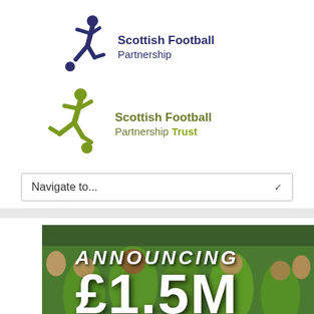[Figure (logo): Scottish Football Partnership logo — dark blue footballer silhouette kicking ball, with text 'Scottish Football Partnership']
[Figure (logo): Scottish Football Partnership Trust logo — olive/lime green footballer silhouette kicking ball, with text 'Scottish Football Partnership Trust']
Navigate to...
[Figure (photo): Photo of young football players in green bibs with large white text overlay reading 'ANNOUNCING £1.5M']